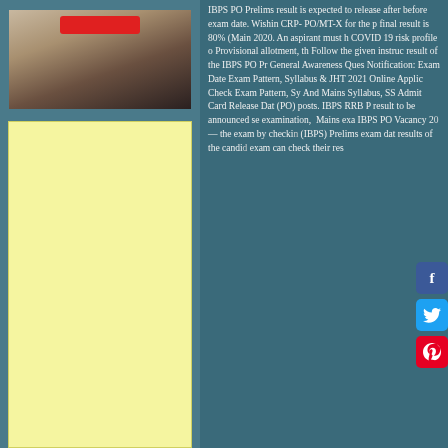[Figure (photo): Photo of a person with a red rectangular overlay/banner at the top, shown against a light background. The person appears to be wearing a grey top.]
[Figure (other): Yellow/cream colored advertisement placeholder area]
IBPS PO Prelims result is expected to release after before exam date. Wishing CRP- PO/MT-X for the p final result is 80% (Main 2020. An aspirant must h COVID 19 risk profile o Provisional allotment, th Follow the given instruc result of the IBPS PO Pr General Awareness Ques Notification: Exam Date Exam Pattern, Syllabus & JHT 2021 Online Applic Check Exam Pattern, Sy And Mains Syllabus, SS Admit Card Release Dat (PO) posts. IBPS RRB P result to be announced se examination, Mains exa IBPS PO Vacancy 2 the exam by checki (IBPS) Prelims exam dat results of the candi exam can check their res